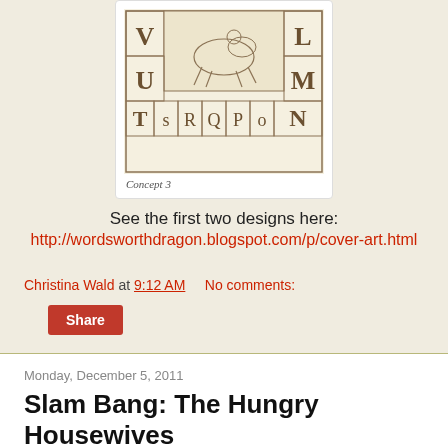[Figure (illustration): Antique-style alphabet block illustration showing letters V, L, U, M, T, S, R, Q, P, O, N arranged around a central image of a figure on horseback. Caption reads 'Concept 3'.]
Concept 3
See the first two designs here:
http://wordsworthdragon.blogspot.com/p/cover-art.html
Christina Wald at 9:12 AM      No comments:
Share
Monday, December 5, 2011
Slam Bang: The Hungry Housewives
The series is finally finished! It will be in the Slam Bang Comic Anthology Femme Fatales issue in 2012. (I will have a link up soon.)